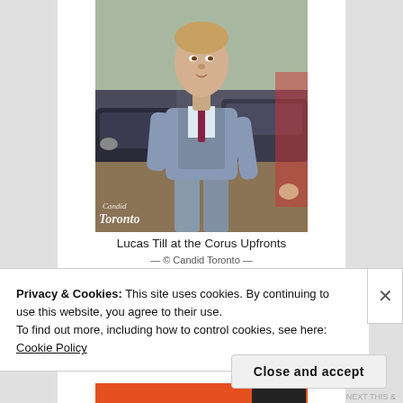[Figure (photo): Photo of Lucas Till wearing a grey three-piece suit with a dark red tie, walking outdoors with cars in the background. A 'Candid Toronto' watermark is visible in the lower-left corner of the photo.]
Lucas Till at the Corus Upfronts
Privacy & Cookies: This site uses cookies. By continuing to use this website, you agree to their use.
To find out more, including how to control cookies, see here:
Cookie Policy
Close and accept